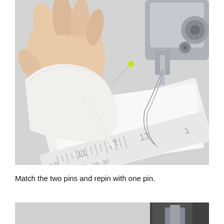[Figure (photo): A hand holding white fabric pinned with a yellow-headed pin near a sewing machine needle, with a ruler visible in the lower portion of the image showing measurements around 11, 12, 13.]
Match the two pins and repin with one pin.
[Figure (photo): Partial view of a sewing machine from above, showing the needle area and presser foot on a white surface.]